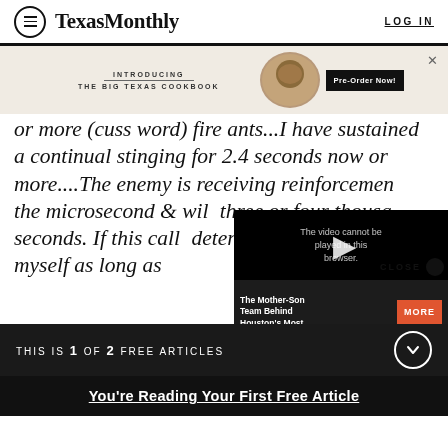Texas Monthly  LOG IN
[Figure (screenshot): Advertisement banner: INTRODUCING THE BIG TEXAS COOKBOOK with food image and Pre-Order Now! button]
or more (cuss word) fire ants...I have sustained a continual stinging for 2.4 seconds now or more....The enemy is receiving reinforcements by the microsecond & will three or four thousa seconds.  If this call determined to sustain myself as long as
[Figure (screenshot): Video overlay: The video cannot be played in this browser. Title: The Mother-Son Team Behind Houston's Most. MORE button.]
THIS IS 1 OF 2 FREE ARTICLES
You're Reading Your First Free Article